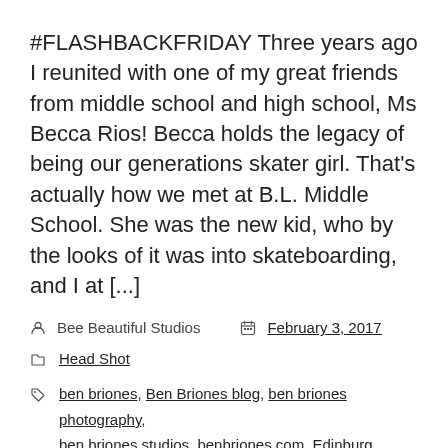#FLASHBACKFRIDAY Three years ago I reunited with one of my great friends from middle school and high school, Ms Becca Rios! Becca holds the legacy of being our generations skater girl. That's actually how we met at B.L. Middle School. She was the new kid, who by the looks of it was into skateboarding, and I at [...]
Bee Beautiful Studios   February 3, 2017
Head Shot
ben briones, Ben Briones blog, ben briones photography, ben briones studios, benbriones.com, Edinburg Photographer, Edinburg Texas, head shot photographer, head shot photographer brownsville texas, head shot photographer edinburg, head shot photographer mcallen, head shot photographer rgv